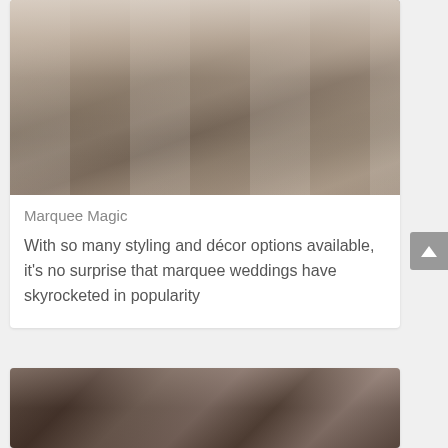[Figure (photo): Outdoor wedding reception with white chairs and long tables set under a marquee, decorated with candles, wine bottles, and floral arrangements]
Marquee Magic
With so many styling and décor options available, it's no surprise that marquee weddings have skyrocketed in popularity
[Figure (photo): Close-up portrait of a couple, woman with dark hair, romantic setting]